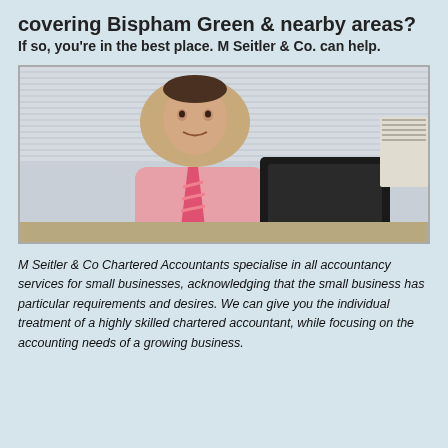covering Bispham Green & nearby areas?
If so, you're in the best place. M Seitler & Co. can help.
[Figure (photo): A man in a pink shirt and pink tie sitting at a desk with a computer monitor and office equipment in the background.]
M Seitler & Co Chartered Accountants specialise in all accountancy services for small businesses, acknowledging that the small business has particular requirements and desires. We can give you the individual treatment of a highly skilled chartered accountant, while focusing on the accounting needs of a growing business.